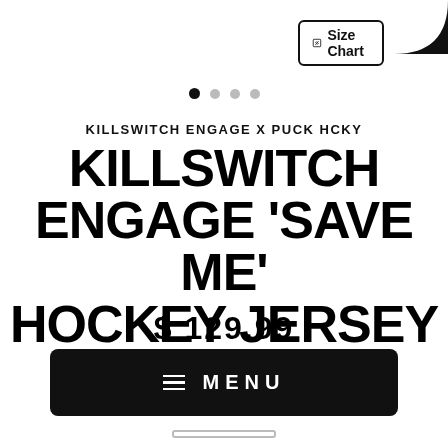[Figure (other): Size Chart button with pencil icon and dark moon/crescent icon in top right corner]
[Figure (other): Carousel pagination dots: one filled dark, three lighter]
KILLSWITCH ENGAGE X PUCK HCKY
KILLSWITCH ENGAGE 'SAVE ME' HOCKEY JERSEY
$ 129.99
Pay in 4 interest-free installments of $32.49 with shopPay Learn more
[Figure (other): Black navigation menu bar with hamburger icon and MENU text]